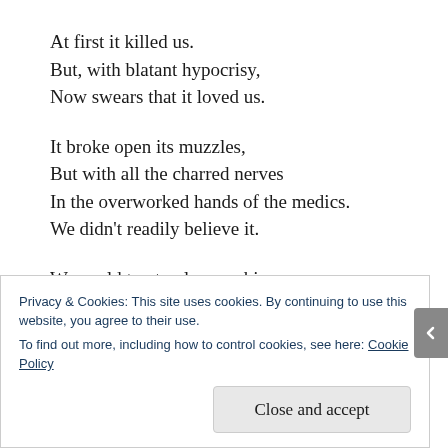At first it killed us.
But, with blatant hypocrisy,
Now swears that it loved us.

It broke open its muzzles,
But with all the charred nerves
In the overworked hands of the medics.
We didn't readily believe it.

We could trust only morphine,
In the very last resort – bromide.
But those of us who were dead
Privacy & Cookies: This site uses cookies. By continuing to use this website, you agree to their use.
To find out more, including how to control cookies, see here: Cookie Policy